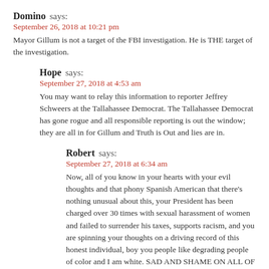Domino says:
September 26, 2018 at 10:21 pm
Mayor Gillum is not a target of the FBI investigation. He is THE target of the investigation.
Hope says:
September 27, 2018 at 4:53 am
You may want to relay this information to reporter Jeffrey Schweers at the Tallahassee Democrat. The Tallahassee Democrat has gone rogue and all responsible reporting is out the window; they are all in for Gillum and Truth is Out and lies are in.
Robert says:
September 27, 2018 at 6:34 am
Now, all of you know in your hearts with your evil thoughts and that phony Spanish American that there’s nothing unusual about this, your President has been charged over 30 times with sexual harassment of women and failed to surrender his taxes, supports racism, and you are spinning your thoughts on a driving record of this honest individual, boy you people like degrading people of color and I am white. SAD AND SHAME ON ALL OF YOU. JUDGENENT DAY IS COMING, HOW WILL ALL OF YOU BE JUDGED. GOD BLESS YOU.
Hope says: